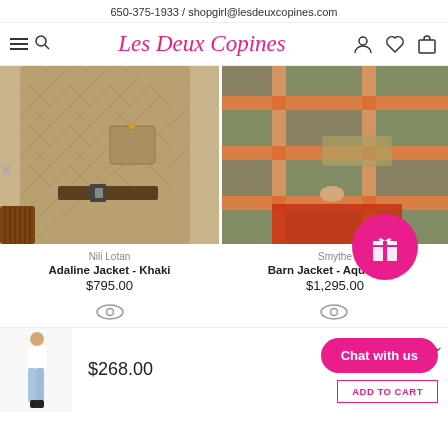650-375-1933 / shopgirl@lesdeuxcopines.com
[Figure (screenshot): Les Deux Copines navigation bar with hamburger/search icon on left, pink italic cursive logo in center, and person/heart/bag icons on right]
[Figure (photo): Left product: Nili Lotan Adaline Jacket in Khaki - quilted tan jacket worn with belt]
[Figure (photo): Right product: Smythe Barn Jacket - Aqua Plaid - colorful plaid oversized jacket with red pants]
Nili Lotan
Adaline Jacket - Khaki
$795.00
Smythe
Barn Jacket - Aqua Plaid
$1,295.00
$268.00
Chat with us
ADD TO CART